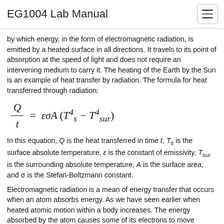EG1004 Lab Manual
by which energy, in the form of electromagnetic radiation, is emitted by a heated surface in all directions. It travels to its point of absorption at the speed of light and does not require an intervening medium to carry it. The heating of the Earth by the Sun is an example of heat transfer by radiation. The formula for heat transferred through radiation:
In this equation, Q is the heat transferred in time t, T_s is the surface absolute temperature, ε is the constant of emissivity, T_sur is the surrounding absolute temperature, A is the surface area, and σ is the Stefan-Boltzmann constant.
Electromagnetic radiation is a mean of energy transfer that occurs when an atom absorbs energy. As we have seen earlier when heated atomic motion within a body increases. The energy absorbed by the atom causes some of its electrons to move around. For sake of stability, the electrons eventually come to its original state or position creating an electromagnetic wave. This EM wave can propagate as heat, light, ultraviolet, or other